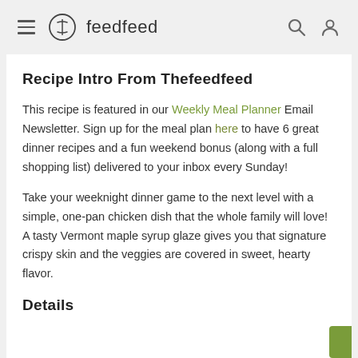feedfeed
Recipe Intro From Thefeedfeed
This recipe is featured in our Weekly Meal Planner Email Newsletter. Sign up for the meal plan here to have 6 great dinner recipes and a fun weekend bonus (along with a full shopping list) delivered to your inbox every Sunday!
Take your weeknight dinner game to the next level with a simple, one-pan chicken dish that the whole family will love! A tasty Vermont maple syrup glaze gives you that signature crispy skin and the veggies are covered in sweet, hearty flavor.
Details